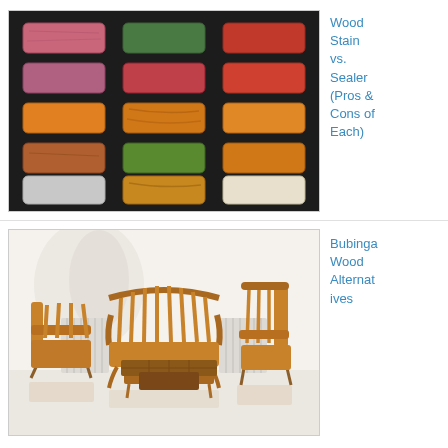[Figure (photo): Display board showing multiple wood stain color samples arranged in a 3-column grid on a dark background, showing pink, green, red, purple, red-orange, orange, orange, green, orange, brown-green, amber, red-orange, gray, amber, cream colored strips]
Wood Stain vs. Sealer (Pros & Cons of Each)
[Figure (photo): Wooden furniture set with warm honey-brown finish: a curved loveseat bench, a low coffee table with tile top, an armchair on left, and a tall-back chair on right, displayed in a light room with white radiator in background]
Bubinga Wood Alternatives